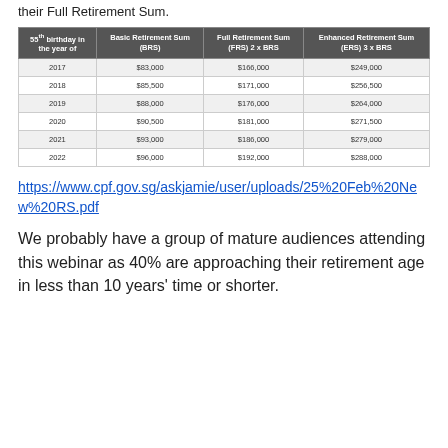their Full Retirement Sum.
| 55th birthday in the year of | Basic Retirement Sum (BRS) | Full Retirement Sum (FRS) 2 x BRS | Enhanced Retirement Sum (ERS) 3 x BRS |
| --- | --- | --- | --- |
| 2017 | $83,000 | $166,000 | $249,000 |
| 2018 | $85,500 | $171,000 | $256,500 |
| 2019 | $88,000 | $176,000 | $264,000 |
| 2020 | $90,500 | $181,000 | $271,500 |
| 2021 | $93,000 | $186,000 | $279,000 |
| 2022 | $96,000 | $192,000 | $288,000 |
https://www.cpf.gov.sg/askjamie/user/uploads/25%20Feb%20New%20RS.pdf
We probably have a group of mature audiences attending this webinar as 40% are approaching their retirement age in less than 10 years' time or shorter.